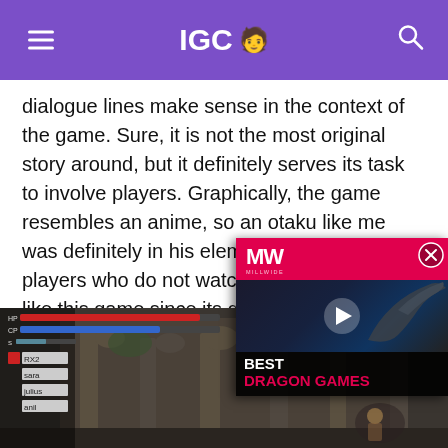IGC
dialogue lines make sense in the context of the game. Sure, it is not the most original story around, but it definitely serves its task to involve players. Graphically, the game resembles an anime, so an otaku like me was definitely in his element here. Even players who do not watch or like anime may like this game since its graphics are pleasant to the eye regardless. The soundtrack is also a positive for the game, since the tracks on the background help the flow of action in the middle of the screen.
[Figure (screenshot): Game screenshot showing RPG battle UI with HP/MP bars and character list on left, stone archway/ruins environment in background]
[Figure (screenshot): MW (Millwide) video overlay showing Best Dragon Games thumbnail with play button, pink/red header with MW logo]